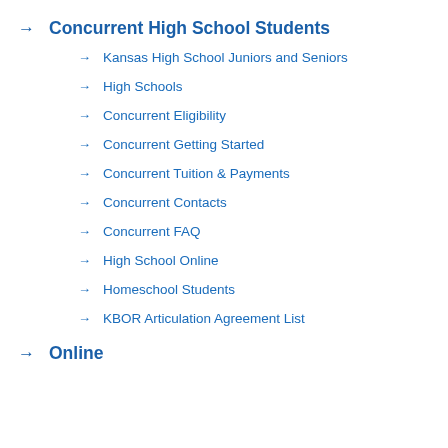→ Concurrent High School Students
→ Kansas High School Juniors and Seniors
→ High Schools
→ Concurrent Eligibility
→ Concurrent Getting Started
→ Concurrent Tuition & Payments
→ Concurrent Contacts
→ Concurrent FAQ
→ High School Online
→ Homeschool Students
→ KBOR Articulation Agreement List
→ Online